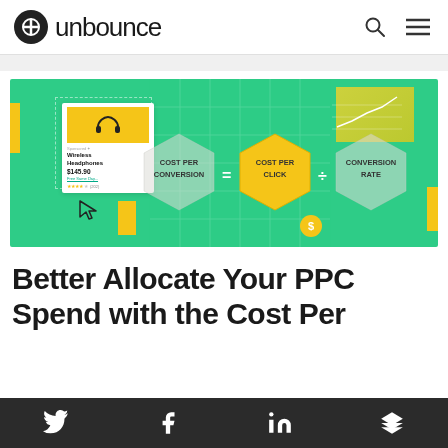unbounce
[Figure (infographic): Green background infographic showing a formula: COST PER CONVERSION = COST PER CLICK ÷ CONVERSION RATE. Three hexagons with the formula terms, a product card (Wireless Headphones $145.90), yellow decorative shapes, and a dollar coin icon.]
Better Allocate Your PPC Spend with the Cost Per
Twitter Facebook LinkedIn Buffer social sharing bar